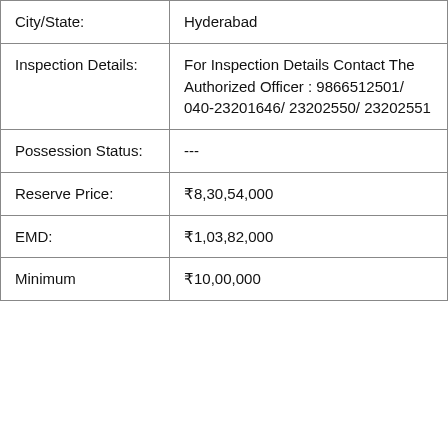| City/State: | Hyderabad |
| Inspection Details: | For Inspection Details Contact The Authorized Officer : 9866512501/ 040-23201646/ 23202550/ 23202551 |
| Possession Status: | --- |
| Reserve Price: | ₹8,30,54,000 |
| EMD: | ₹1,03,82,000 |
| Minimum | ₹10,00,000 |